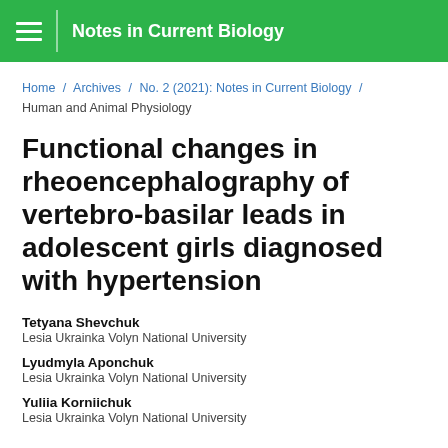Notes in Current Biology
Home / Archives / No. 2 (2021): Notes in Current Biology / Human and Animal Physiology
Functional changes in rheoencephalography of vertebro-basilar leads in adolescent girls diagnosed with hypertension
Tetyana Shevchuk
Lesia Ukrainka Volyn National University
Lyudmyla Aponchuk
Lesia Ukrainka Volyn National University
Yuliia Korniichuk
Lesia Ukrainka Volyn National University